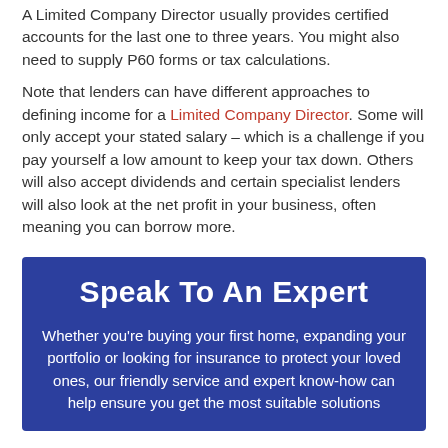A Limited Company Director usually provides certified accounts for the last one to three years. You might also need to supply P60 forms or tax calculations.
Note that lenders can have different approaches to defining income for a Limited Company Director. Some will only accept your stated salary – which is a challenge if you pay yourself a low amount to keep your tax down. Others will also accept dividends and certain specialist lenders will also look at the net profit in your business, often meaning you can borrow more.
Speak To An Expert
Whether you're buying your first home, expanding your portfolio or looking for insurance to protect your loved ones, our friendly service and expert know-how can help ensure you get the most suitable solutions